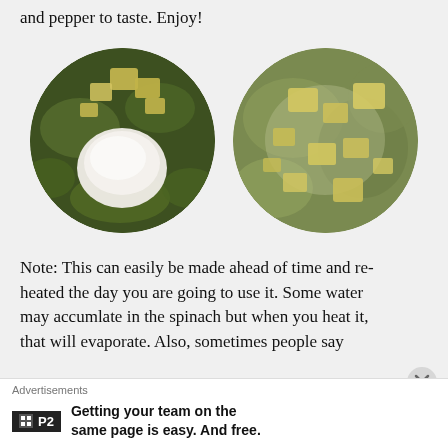and pepper to taste. Enjoy!
[Figure (photo): Two circular close-up food photos side by side showing spinach dish with cheese and seasoning. Left image shows white powdered seasoning mounded on top of green spinach with tofu/cheese pieces. Right image shows the mixed spinach with cheese pieces spread throughout.]
Note: This can easily be made ahead of time and re-heated the day you are going to use it. Some water may accumlate in the spinach but when you heat it, that will evaporate. Also, sometimes people say
Advertisements
P2   Getting your team on the same page is easy. And free.